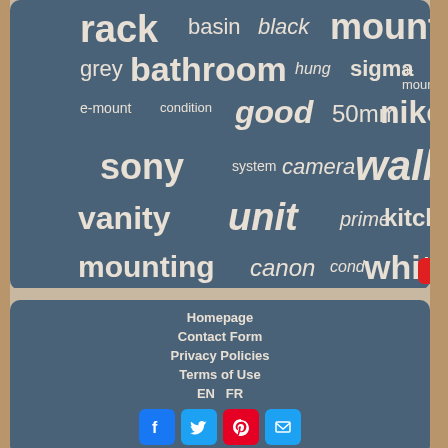[Figure (infographic): Word cloud on dark blue-grey background with words: rack, basin, black, mountain, grey, bathroom, hung, sigma, a-mount, e-mount, condition, good, 50mm, nikon, sony, system, camera, wall, vanity, unit, prime, kitchen, mounting, canon, cond, white, bike]
Homepage
Contact Form
Privacy Policies
Terms of Use
EN   FR
[Figure (infographic): Social media icon buttons: Facebook (blue), Twitter (light blue), Pinterest (red), Email (light blue)]